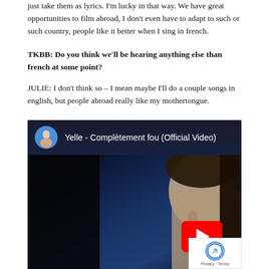just take them as lyrics. I'm lucky in that way. We have great opportunities to film abroad, I don't even have to adapt to such or such country, people like it better when I sing in french.
TKBB: Do you think we'll be hearing anything else than french at some point?
JULIE: I don't think so – I mean maybe I'll do a couple songs in english, but people abroad really like my mothertongue.
[Figure (screenshot): YouTube embedded video player showing 'Yelle - Complètement fou (Official Video)' with a woman's face on a dark blue background and a red play button. A reCAPTCHA badge appears in the bottom-right corner with 'Privacy · Terms' text.]